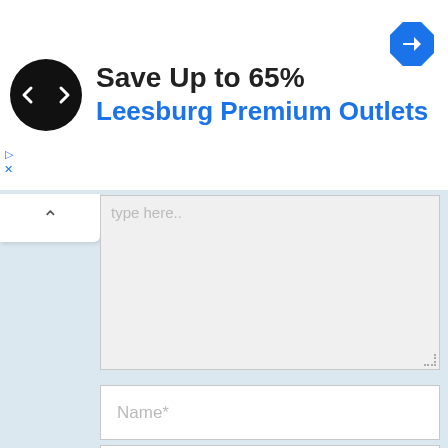[Figure (screenshot): Advertisement banner for Leesburg Premium Outlets featuring a circular black logo with white arrows, the text 'Save Up to 65%' in bold black, 'Leesburg Premium Outlets' in blue, and a blue diamond-shaped navigation icon on the right.]
type here..
Name*